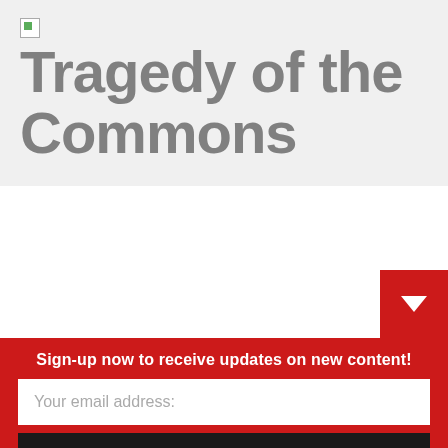Tragedy of the Commons
Sign-up now to receive updates on new content!
Your email address:
Subscribe